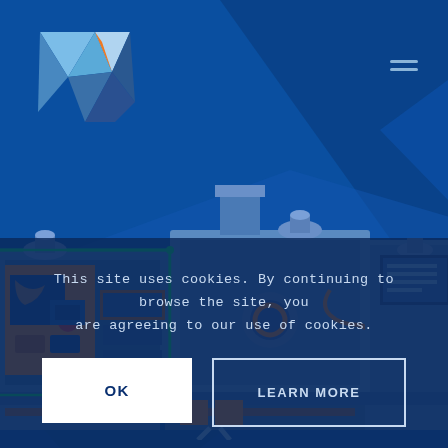[Figure (illustration): Blue and orange low-poly geometric logo in upper left corner with triangular/crystalline W shape]
[Figure (illustration): Industrial injection molding machine illustration in blue and orange colors, rendered in a flat/isometric style against a dark blue background with geometric shapes]
This site uses cookies. By continuing to browse the site, you are agreeing to our use of cookies.
OK
LEARN MORE